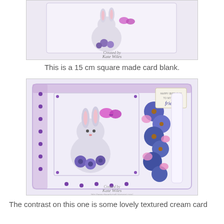[Figure (photo): Top portion of a handmade greeting card showing a bunny illustration with purple flowers and a butterfly, with 'Created by Kate Wiles' watermark and blog URL at the bottom.]
This is a 15 cm square made card blank.
[Figure (photo): A 15 cm square handmade greeting card with a cute bunny holding purple flowers and a pink butterfly, decorated with real purple and pink flowers along the right side, a 'Happy Birthday to my dear friend' tag, purple lace border, and 'Created by Kate Wiles' watermark with blog URL.]
The contrast on this one is some lovely textured cream card